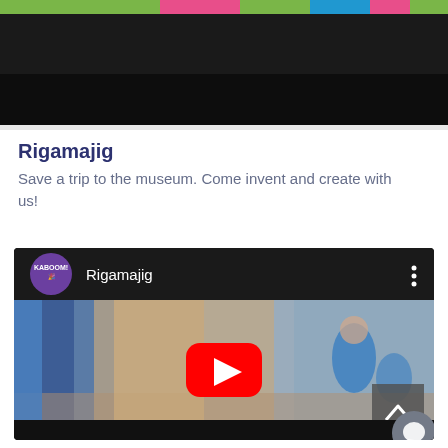[Figure (photo): Partial top image showing colorful objects, cropped at top of page with dark/black bar overlay]
Rigamajig
Save a trip to the museum. Come invent and create with us!
[Figure (screenshot): YouTube video thumbnail for 'Rigamajig' showing blurred background of people in a workshop setting, with YouTube play button overlay. KABOOM! logo circle in top left of video player bar. Scroll-to-top button and chat button overlaid on the video.]